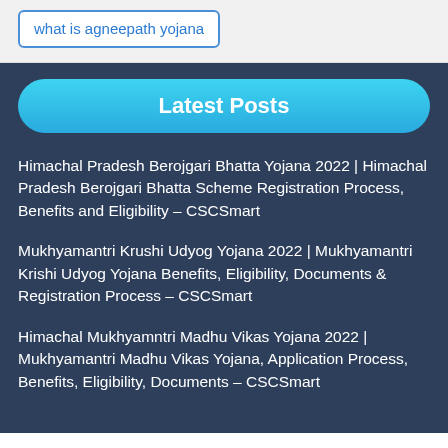what is agneepath yojana
Latest Posts
Himachal Pradesh Berojgari Bhatta Yojana 2022 | Himachal Pradesh Berojgari Bhatta Scheme Registration Process, Benefits and Eligibility – CSCSmart
Mukhyamantri Krushi Udyog Yojana 2022 | Mukhyamantri Krishi Udyog Yojana Benefits, Eligibility, Documents & Registration Process – CSCSmart
Himachal Mukhyamntri Madhu Vikas Yojana 2022 | Mukhyamantri Madhu Vikas Yojana, Application Process, Benefits, Eligibility, Documents – CSCSmart